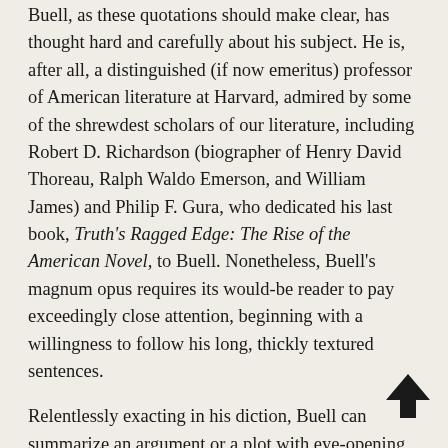Buell, as these quotations should make clear, has thought hard and carefully about his subject. He is, after all, a distinguished (if now emeritus) professor of American literature at Harvard, admired by some of the shrewdest scholars of our literature, including Robert D. Richardson (biographer of Henry David Thoreau, Ralph Waldo Emerson, and William James) and Philip F. Gura, who dedicated his last book, Truth's Ragged Edge: The Rise of the American Novel, to Buell. Nonetheless, Buell's magnum opus requires its would-be reader to pay exceedingly close attention, beginning with a willingness to follow his long, thickly textured sentences.
Relentlessly exacting in his diction, Buell can summarize an argument or a plot with eye-opening precision—and make you suddenly see new things in familiar books. He really is smart. But, oh, how costive is his serpentine prose, how tightly wound and airless. On one page he might drop in a follow phrase such as "his own sense" or